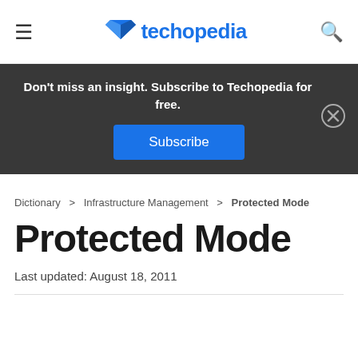techopedia
Don't miss an insight. Subscribe to Techopedia for free.
Subscribe
Dictionary > Infrastructure Management > Protected Mode
Protected Mode
Last updated: August 18, 2011